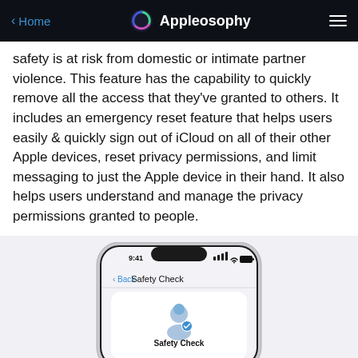Home  Appleosophy  ≡
safety is at risk from domestic or intimate partner violence. This feature has the capability to quickly remove all the access that they've granted to others. It includes an emergency reset feature that helps users easily & quickly sign out of iCloud on all of their other Apple devices, reset privacy permissions, and limit messaging to just the Apple device in their hand. It also helps users understand and manage the privacy permissions granted to people.
[Figure (screenshot): iPhone mockup showing the Safety Check screen in iOS Settings. The phone displays time 9:41, signal, WiFi and battery icons. Below a Back button and 'Safety Check' title, there is a person icon with a blue checkmark and the bold text 'Safety Check'.]